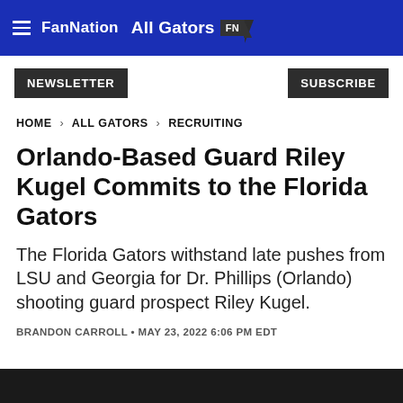FanNation All Gators FN
NEWSLETTER   SUBSCRIBE
HOME > ALL GATORS > RECRUITING
Orlando-Based Guard Riley Kugel Commits to the Florida Gators
The Florida Gators withstand late pushes from LSU and Georgia for Dr. Phillips (Orlando) shooting guard prospect Riley Kugel.
BRANDON CARROLL • MAY 23, 2022 6:06 PM EDT